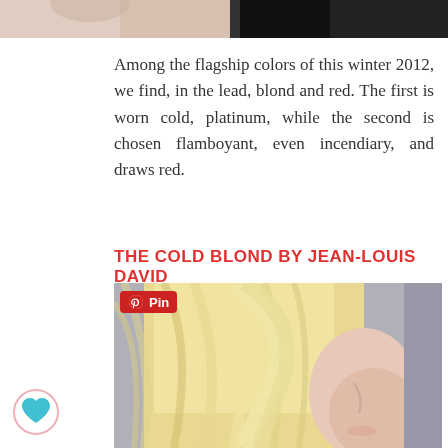[Figure (photo): Top portion of a photo showing people with dark clothing, cropped at the bottom]
Among the flagship colors of this winter 2012, we find, in the lead, blond and red. The first is worn cold, platinum, while the second is chosen flamboyant, even incendiary, and draws red.
THE COLD BLOND BY JEAN-LOUIS DAVID
[Figure (photo): Close-up photo of a woman with long platinum cold blonde hair covering part of her face, styled sleek and straight, by Jean-Louis David]
[Figure (other): Pinterest Pin badge overlay on photo]
[Figure (other): Teal/cyan heart icon on the left side]